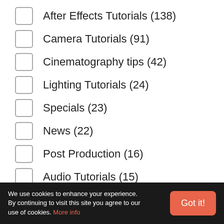After Effects Tutorials (138)
Camera Tutorials (91)
Cinematography tips (42)
Lighting Tutorials (24)
Specials (23)
News (22)
Post Production (16)
Audio Tutorials (15)
CopyCat (15)
Pre-Production (14)
We use cookies to enhance your experience. By continuing to visit this site you agree to our use of cookies. More info